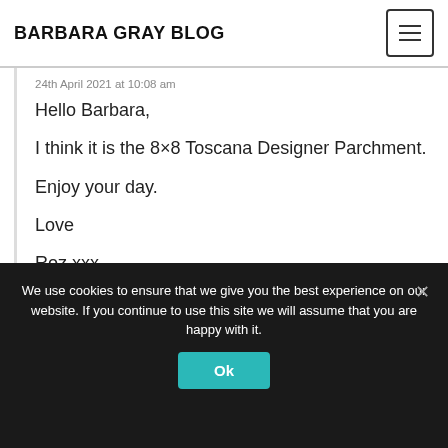BARBARA GRAY BLOG
24th April 2021 at 10:08 am
Hello Barbara,

I think it is the 8×8 Toscana Designer Parchment.

Enjoy your day.

Love

Roz.xxx
Reply
We use cookies to ensure that we give you the best experience on our website. If you continue to use this site we will assume that you are happy with it.